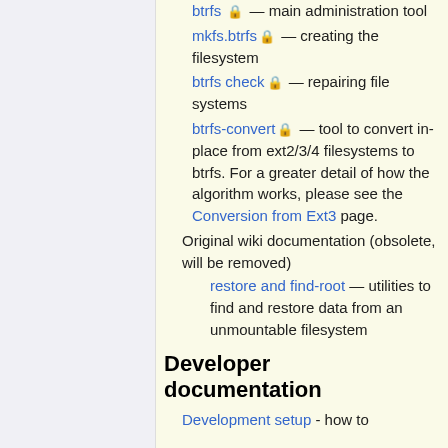btrfs 🔒 — main administration tool
mkfs.btrfs 🔒 — creating the filesystem
btrfs check 🔒 — repairing file systems
btrfs-convert 🔒 — tool to convert in-place from ext2/3/4 filesystems to btrfs. For a greater detail of how the algorithm works, please see the Conversion from Ext3 page.
Original wiki documentation (obsolete, will be removed)
restore and find-root — utilities to find and restore data from an unmountable filesystem
Developer documentation
Development setup - how to